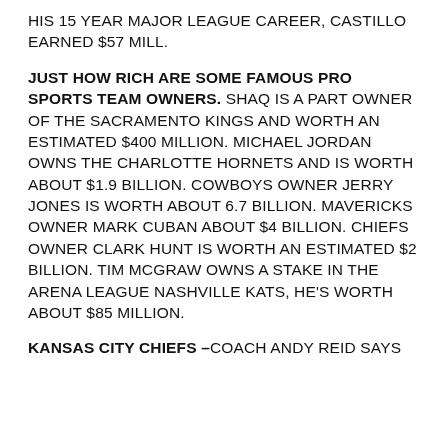HIS 15 YEAR MAJOR LEAGUE CAREER, CASTILLO EARNED $57 MILL.
JUST HOW RICH ARE SOME FAMOUS PRO SPORTS TEAM OWNERS. SHAQ IS A PART OWNER OF THE SACRAMENTO KINGS AND WORTH AN ESTIMATED $400 MILLION. MICHAEL JORDAN OWNS THE CHARLOTTE HORNETS AND IS WORTH ABOUT $1.9 BILLION. COWBOYS OWNER JERRY JONES IS WORTH ABOUT 6.7 BILLION. MAVERICKS OWNER MARK CUBAN ABOUT $4 BILLION. CHIEFS OWNER CLARK HUNT IS WORTH AN ESTIMATED $2 BILLION. TIM MCGRAW OWNS A STAKE IN THE ARENA LEAGUE NASHVILLE KATS, HE'S WORTH ABOUT $85 MILLION.
KANSAS CITY CHIEFS –COACH ANDY REID SAYS